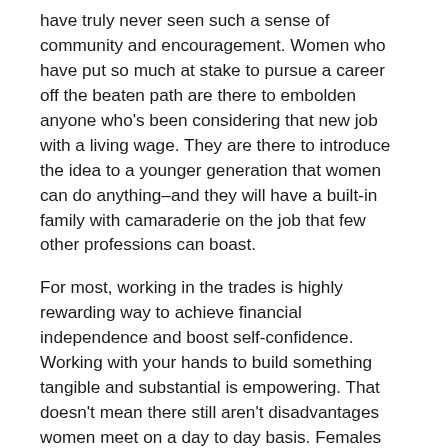have truly never seen such a sense of community and encouragement. Women who have put so much at stake to pursue a career off the beaten path are there to embolden anyone who's been considering that new job with a living wage. They are there to introduce the idea to a younger generation that women can do anything–and they will have a built-in family with camaraderie on the job that few other professions can boast.
For most, working in the trades is highly rewarding way to achieve financial independence and boost self-confidence. Working with your hands to build something tangible and substantial is empowering. That doesn't mean there still aren't disadvantages women meet on a day to day basis. Females make up a small percentage of the construction force, but as that number grows, the more their basic needs will be met. There is power in numbers and there is power in women finding the job that suits their skills and personalities.